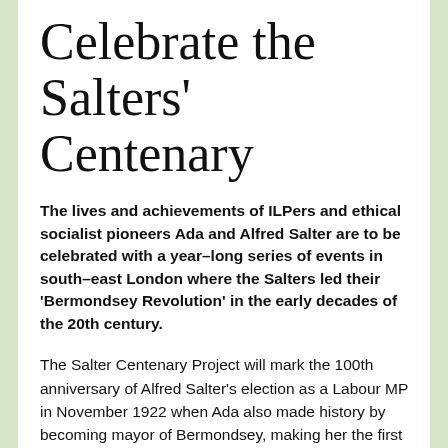Celebrate the Salters' Centenary
The lives and achievements of ILPers and ethical socialist pioneers Ada and Alfred Salter are to be celebrated with a year–long series of events in south–east London where the Salters led their 'Bermondsey Revolution' in the early decades of the 20th century.
The Salter Centenary Project will mark the 100th anniversary of Alfred Salter's election as a Labour MP in November 1922 when Ada also made history by becoming mayor of Bermondsey, making her the first woman mayor in London and the first Labour woman mayor in Britain.